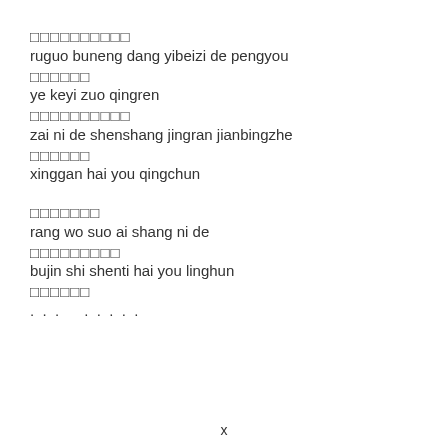□□□□□□□□□□
ruguo buneng dang yibeizi de pengyou
□□□□□□
ye keyi zuo qingren
□□□□□□□□□□
zai ni de shenshang jingran jianbingzhe
□□□□□□
xinggan hai you qingchun
□□□□□□□
rang wo suo ai shang ni de
□□□□□□□□□
bujin shi shenti hai you linghun
□□□□□□
. . .      . . . . .
x